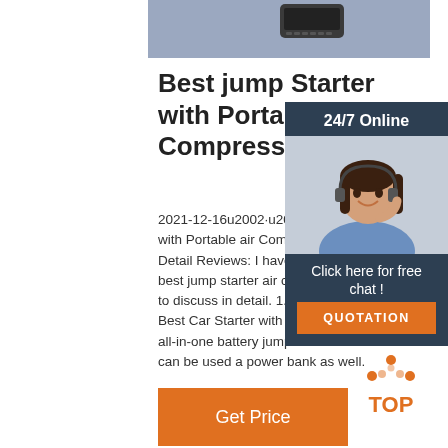[Figure (photo): Blue-gray background rectangle with a dark device/keyboard image at top]
Best jump Starter with Portable air Compressor 2022 ...
2021-12-16u2002·u2002Best jump Starter with Portable air Compressor in 2022 – Detail Reviews: I have tried to compile the best jump starter air compressor and going to discuss in detail. 1. TACKLIFE T8800A – Best Car Starter with Air Compressor: This all-in-one battery jump starter firm Tacklife can be used a power bank as well.
[Figure (photo): Sidebar with 24/7 Online text, photo of woman with headset, Click here for free chat text, and orange QUOTATION button]
[Figure (other): Get Price orange button]
[Figure (logo): TOP logo with orange dots arranged in triangle shape and orange TOP text]